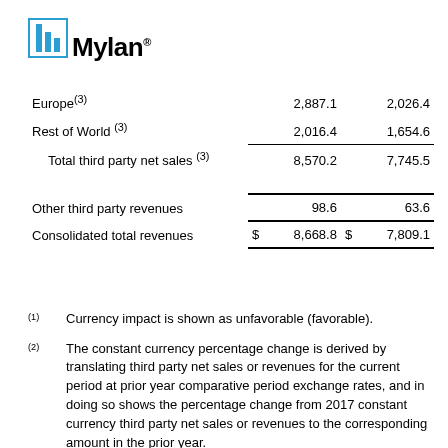[Figure (logo): Mylan logo with blue bar chart icon and Mylan text with registered trademark symbol]
|  | Col1 | Col2 |
| --- | --- | --- |
| Europe(3) | 2,887.1 | 2,026.4 |
| Rest of World (3) | 2,016.4 | 1,654.6 |
| Total third party net sales (3) | 8,570.2 | 7,745.5 |
| Other third party revenues | 98.6 | 63.6 |
| Consolidated total revenues | $ 8,668.8 | $ 7,809.1 |
(1) Currency impact is shown as unfavorable (favorable).
(2) The constant currency percentage change is derived by translating third party net sales or revenues for the current period at prior year comparative period exchange rates, and in doing so shows the percentage change from 2017 constant currency third party net sales or revenues to the corresponding amount in the prior year.